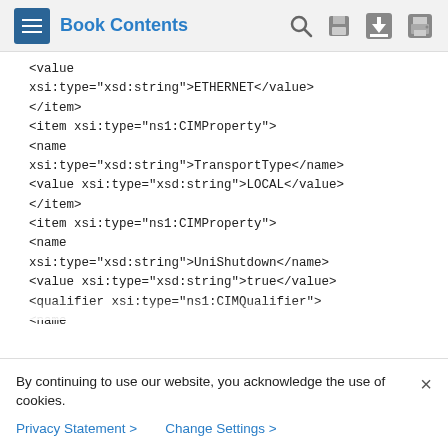Book Contents
<value xsi:type="xsd:string">ETHERNET</value>
</item>
<item xsi:type="ns1:CIMProperty">
<name xsi:type="xsd:string">TransportType</name>
<value xsi:type="xsd:string">LOCAL</value>
</item>
<item xsi:type="ns1:CIMProperty">
<name xsi:type="xsd:string">UniShutdown</name>
<value xsi:type="xsd:string">true</value>
<qualifier xsi:type="ns1:CIMQualifier">
<name xsi:type="xsd:string">editable</name>
By continuing to use our website, you acknowledge the use of cookies.
Privacy Statement > Change Settings >